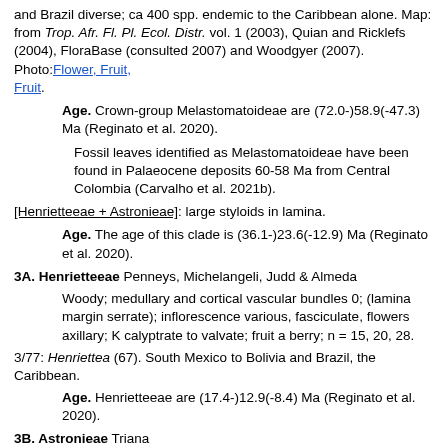and Brazil diverse; ca 400 spp. endemic to the Caribbean alone. Map: from Trop. Afr. Fl. Pl. Ecol. Distr. vol. 1 (2003), Quian and Ricklefs (2004), FloraBase (consulted 2007) and Woodgyer (2007). Photo: Flower, Fruit, Fruit.
Age. Crown-group Melastomatoideae are (72.0-)58.9(-47.3) Ma (Reginato et al. 2020).
Fossil leaves identified as Melastomatoideae have been found in Palaeocene deposits 60-58 Ma from Central Colombia (Carvalho et al. 2021b).
[Henrietteeae + Astronieae]: large styloids in lamina.
Age. The age of this clade is (36.1-)23.6(-12.9) Ma (Reginato et al. 2020).
3A. Henrietteeae Penneys, Michelangeli, Judd & Almeda
Woody; medullary and cortical vascular bundles 0; (lamina margin serrate); inflorescence various, fasciculate, flowers axillary; K calyptrate to valvate; fruit a berry; n = 15, 20, 28.
3/77: Henriettea (67). South Mexico to Bolivia and Brazil, the Caribbean.
Age. Henrietteeae are (17.4-)12.9(-8.4) Ma (Reginato et al. 2020).
3B. Astronieae Triana
Shrubs to trees; petiole bundle complex, open; stomata mostly anomocytic; indumentum as peltate scales; (anthers opening by slits); carpels opposite petals; placentation basal to basal-axile.